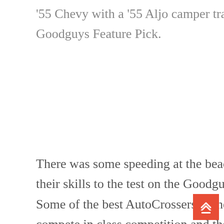'55 Chevy with a '55 Aljo camper trailer in tow for the Goodguys Feature Pick.
There was some speeding at the beach being done as racers put their skills to the test on the Goodguys CPP AutoCross course. Some of the best AutoCrossers in the Western U.S. came out to compete in class competition and the CPP Duel in Del